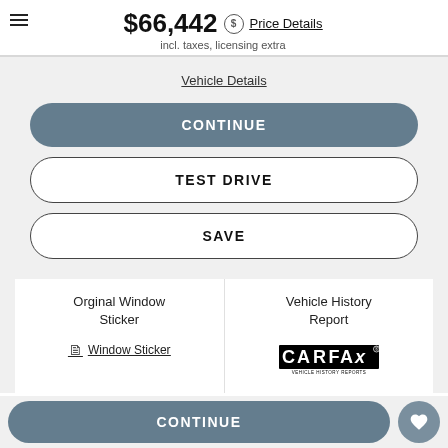$66,442 Price Details
incl. taxes, licensing extra
Vehicle Details
CONTINUE
TEST DRIVE
SAVE
Orginal Window Sticker
Window Sticker
Vehicle History Report
[Figure (logo): CARFAX Vehicle History Reports logo]
CONTINUE